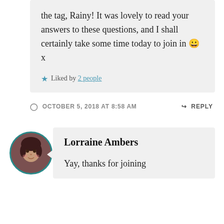the tag, Rainy! It was lovely to read your answers to these questions, and I shall certainly take some time today to join in 😀 x
★ Liked by 2 people
OCTOBER 5, 2018 AT 8:58 AM
↳ REPLY
Lorraine Ambers
Yay, thanks for joining